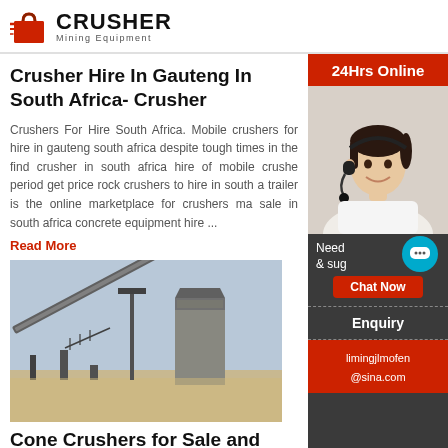CRUSHER Mining Equipment
Crusher Hire In Gauteng In South Africa- Crusher
Crushers For Hire South Africa. Mobile crushers for hire in gauteng south africa despite tough times in the find crusher in south africa hire of mobile crushe period get price rock crushers to hire in south a trailer is the online marketplace for crushers ma sale in south africa concrete equipment hire ...
Read More
[Figure (photo): Industrial conveyor belt and crusher machinery at a mining site]
Cone Crushers for Sale and Rent Powerscreening